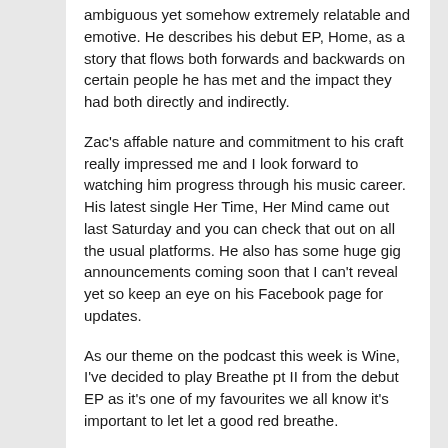ambiguous yet somehow extremely relatable and emotive. He describes his debut EP, Home, as a story that flows both forwards and backwards on certain people he has met and the impact they had both directly and indirectly.
Zac's affable nature and commitment to his craft really impressed me and I look forward to watching him progress through his music career. His latest single Her Time, Her Mind came out last Saturday and you can check that out on all the usual platforms. He also has some huge gig announcements coming soon that I can't reveal yet so keep an eye on his Facebook page for updates.
As our theme on the podcast this week is Wine, I've decided to play Breathe pt II from the debut EP as it's one of my favourites we all know it's important to let let a good red breathe.